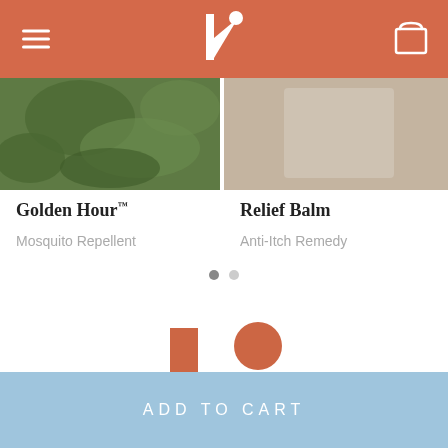Kinfield — header navigation bar with hamburger menu, logo, and cart icon
[Figure (photo): Left product image showing green botanicals/leaves for Golden Hour mosquito repellent]
[Figure (photo): Right product image showing beige/cream background for Relief Balm anti-itch remedy]
Golden Hour™
Mosquito Repellent
Relief Balm
Anti-Itch Remedy
[Figure (logo): Kinfield brand logo — stylized K with dot in terracotta/rust color]
ADD TO CART